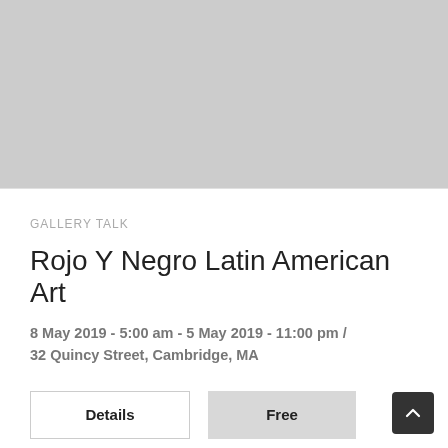[Figure (photo): Gray placeholder image area at the top of the card]
GALLERY TALK
Rojo Y Negro Latin American Art
8 May 2019 - 5:00 am - 5 May 2019 - 11:00 pm / 32 Quincy Street, Cambridge, MA
Details   Free